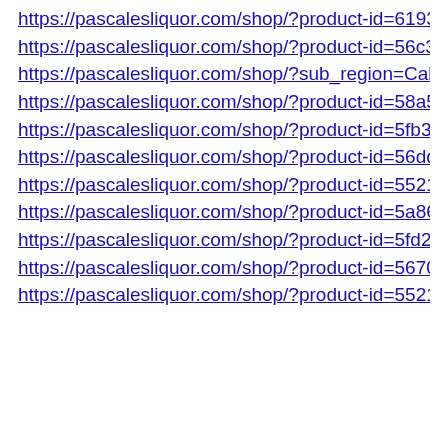https://pascalesliquor.com/shop/?product-id=61930353f…
https://pascalesliquor.com/shop/?product-id=56c3377d6…
https://pascalesliquor.com/shop/?sub_region=Calatayud
https://pascalesliquor.com/shop/?product-id=58a5aa456…
https://pascalesliquor.com/shop/?product-id=5fb3f72c32…
https://pascalesliquor.com/shop/?product-id=56ddc9656…
https://pascalesliquor.com/shop/?product-id=5521cef865…
https://pascalesliquor.com/shop/?product-id=5a86217fba…
https://pascalesliquor.com/shop/?product-id=5fd295ebc4…
https://pascalesliquor.com/shop/?product-id=56702e277…
https://pascalesliquor.com/shop/?product-id=5521cef465…